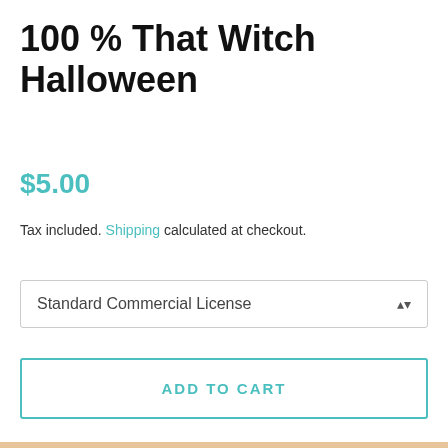100 % That Witch Halloween
$5.00
Tax included. Shipping calculated at checkout.
Standard Commercial License
ADD TO CART